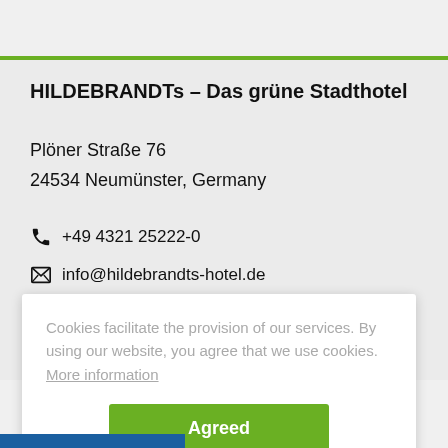HILDEBRANDTs – Das grüne Stadthotel
Plöner Straße 76
24534 Neumünster, Germany
+49 4321 25222-0
info@hildebrandts-hotel.de
Cookies facilitate the provision of our services. By using our website, you agree that we use cookies.  More information
Agreed